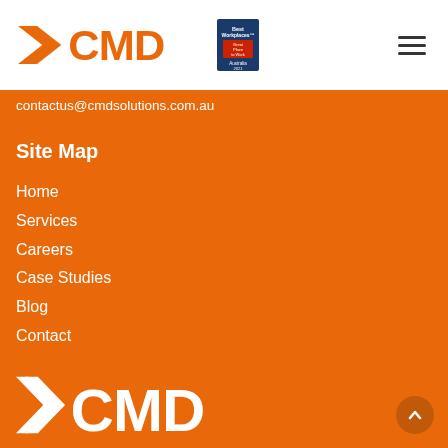[Figure (logo): CMD Solutions logo with chevron arrow and text CMD in orange, alongside Best Workplaces Australia 2021 badge]
[Figure (other): Hamburger menu icon (three horizontal lines)]
contactus@cmdsolutions.com.au
Site Map
Home
Services
Careers
Case Studies
Blog
Contact
[Figure (logo): CMD Solutions large white logo on orange background at bottom of page]